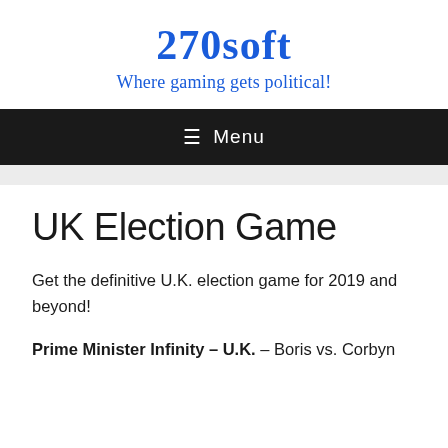270soft
Where gaming gets political!
≡ Menu
UK Election Game
Get the definitive U.K. election game for 2019 and beyond!
Prime Minister Infinity – U.K. – Boris vs. Corbyn